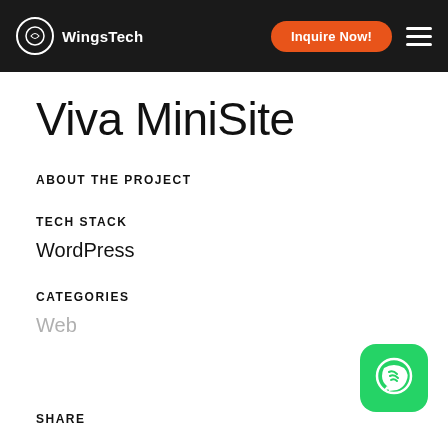WingsTech  Inquire Now!
Viva MiniSite
ABOUT THE PROJECT
TECH STACK
WordPress
CATEGORIES
Web
[Figure (logo): WhatsApp icon button (green rounded square with white phone/chat icon)]
SHARE